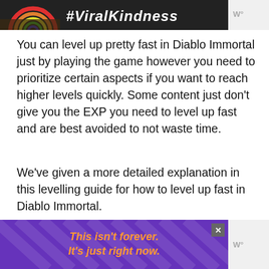[Figure (photo): Dark banner image with rainbow icon and '#ViralKindness' text on the left, and a Wired logo in grey on the right]
You can level up pretty fast in Diablo Immortal just by playing the game however you need to prioritize certain aspects if you want to reach higher levels quickly. Some content just don't give you the EXP you need to level up fast and are best avoided to not waste time.
We've given a more detailed explanation in this levelling guide for how to level up fast in Diablo Immortal.
Do the Main Story Quests
[Figure (infographic): Purple advertisement banner with diagonal stripe pattern and orange italic text: 'This isn't forever. It's just right now.' with a close button (X) in the upper right.]